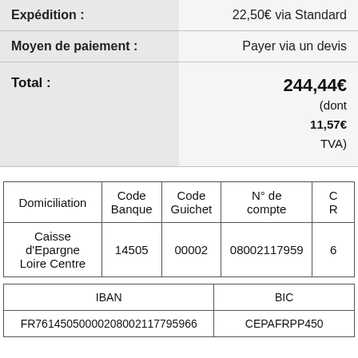|  |  |
| --- | --- |
| Expédition : | 22,50€ via Standard |
| Moyen de paiement : | Payer via un devis |
| Total : | 244,44€ (dont 11,57€ TVA) |
| Domiciliation | Code Banque | Code Guichet | N° de compte | C R |
| --- | --- | --- | --- | --- |
| Caisse d'Epargne Loire Centre | 14505 | 00002 | 08002117959 | 6 |
| IBAN | BIC |
| --- | --- |
| FR76145050000208002117959 66 | CEPAFRPP450 |